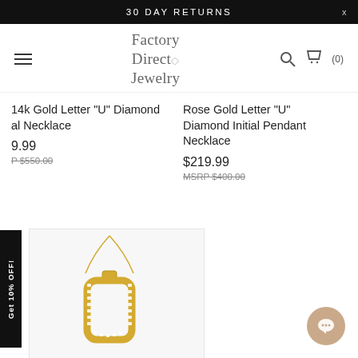30 DAY RETURNS
[Figure (logo): Factory Direct Jewelry logo with diamond icon]
14k Gold Letter "U" Diamond Initial Necklace
$219.99 (partially visible as 9.99)
MSRP $550.00
Rose Gold Letter "U" Diamond Initial Pendant Necklace
$219.99
MSRP $400.00
[Figure (photo): Gold letter U diamond initial necklace pendant on chain, shown on white background]